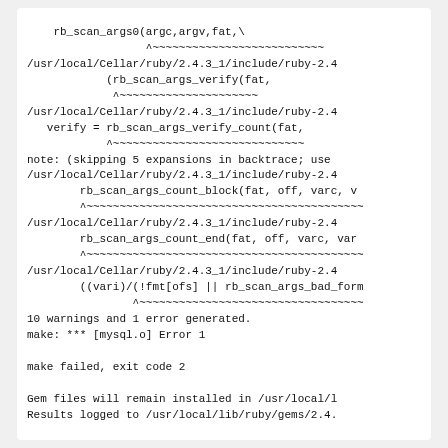[Figure (screenshot): Terminal/compiler output showing C compiler errors and warnings related to rb_scan_args functions in Ruby 2.4.3_1 headers, followed by make failure messages and gem installation notes.]